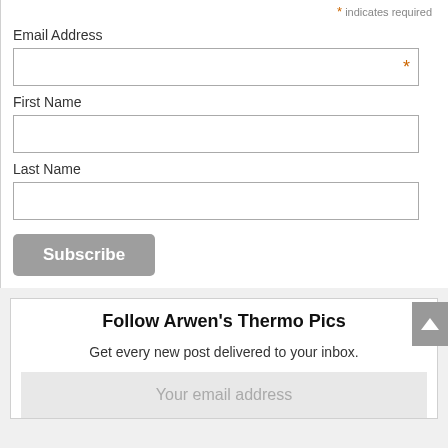* indicates required
Email Address
First Name
Last Name
Subscribe
Follow Arwen's Thermo Pics
Get every new post delivered to your inbox.
Your email address